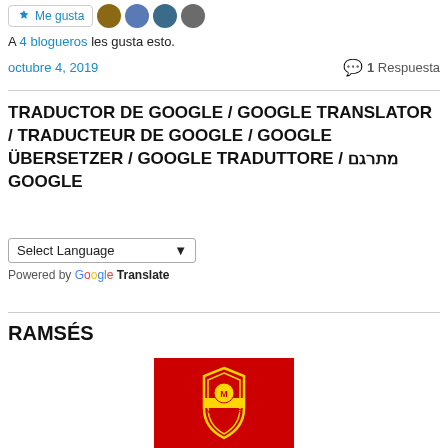[Figure (other): Like button with star icon and 4 avatar thumbnails]
A 4 blogueros les gusta esto.
octubre 4, 2019    💬 1 Respuesta
TRADUCTOR DE GOOGLE / GOOGLE TRANSLATOR / TRADUCTEUR DE GOOGLE / GOOGLE ÜBERSETZER / GOOGLE TRADUTTORE / מתרגם GOOGLE
[Figure (other): Google Translate widget with Select Language dropdown and Powered by Google Translate label]
RAMSÉS
[Figure (photo): Manchester United crest on red background]